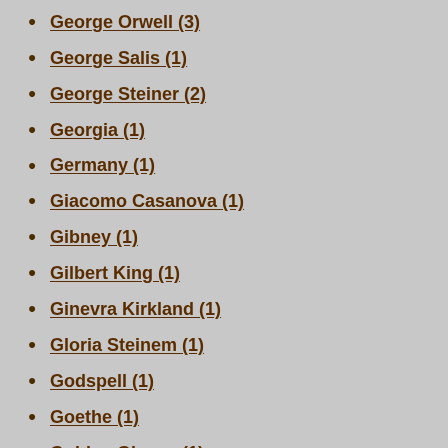George Orwell (3)
George Salis (1)
George Steiner (2)
Georgia (1)
Germany (1)
Giacomo Casanova (1)
Gibney (1)
Gilbert King (1)
Ginevra Kirkland (1)
Gloria Steinem (1)
Godspell (1)
Goethe (1)
Golden Gloves (1)
Goree Carter (1)
Grace (1)
Graham Greene (1)